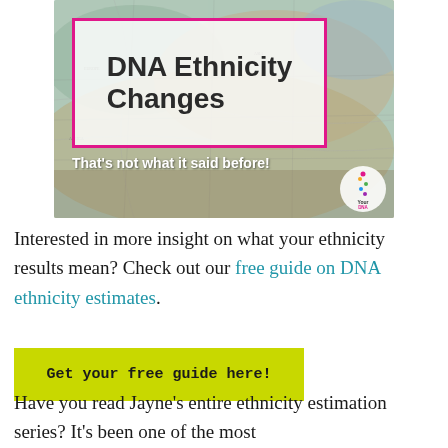[Figure (illustration): A world map globe photo background with a pink-outlined white box overlay containing bold text 'DNA Ethnicity Changes', a subtitle 'That's not what it said before!', and a 'Your DNA Guide' logo badge in the bottom right corner.]
Interested in more insight on what your ethnicity results mean? Check out our free guide on DNA ethnicity estimates.
Get your free guide here!
Have you read Jayne's entire ethnicity estimation series? It's been one of the most